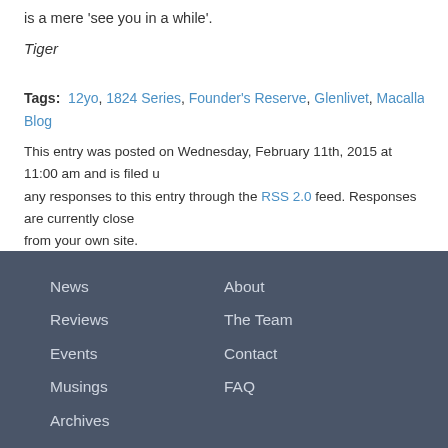is a mere 'see you in a while'.
Tiger
Tags: 12yo, 1824 Series, Founder's Reserve, Glenlivet, Macallan, NAS, no- Blog
This entry was posted on Wednesday, February 11th, 2015 at 11:00 am and is filed u... any responses to this entry through the RSS 2.0 feed. Responses are currently close... from your own site.
News, Reviews, Events, Musings, Archives, About, The Team, Contact, FAQ